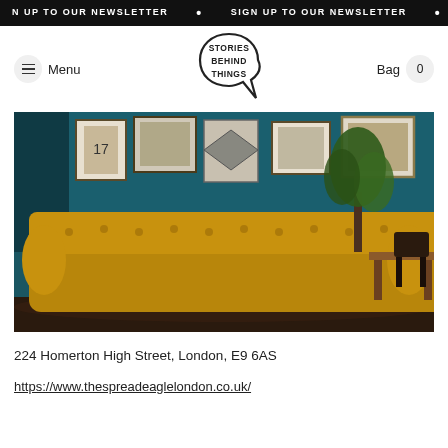SIGN UP TO OUR NEWSLETTER • SIGN UP TO OUR NEWSLETTER • SIGN UP TO OUR NEWSLETTER
Menu
[Figure (logo): Stories Behind Things logo — a speech-bubble shaped badge with the text STORIES BEHIND THINGS in bold hand-drawn lettering]
Bag 0
[Figure (photo): Interior of The Spread Eagle London pub: a tufted gold/mustard velvet Chesterfield sofa against a teal/dark blue wall hung with framed pictures and artwork; a wooden table and chairs visible on the right; a green plant in the background.]
224 Homerton High Street, London, E9 6AS
https://www.thespreadeaglelondon.co.uk/